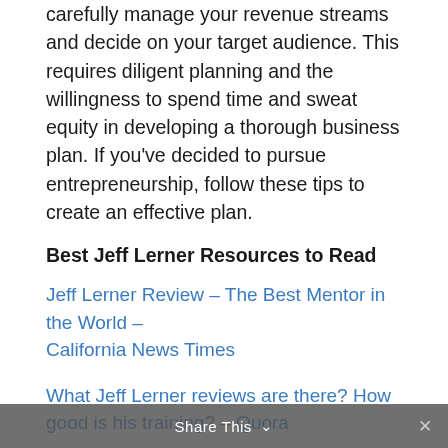carefully manage your revenue streams and decide on your target audience. This requires diligent planning and the willingness to spend time and sweat equity in developing a thorough business plan. If you've decided to pursue entrepreneurship, follow these tips to create an effective plan.
Best Jeff Lerner Resources to Read
Jeff Lerner Review – The Best Mentor in the World – California News Times
What Jeff Lerner reviews are there? How good is his training? – Quora
A business plan can help you avoid some common mistakes. It can help you avoid some of the most critical mistakes that many entrepreneurs make. For instance, a business plan can help you find out whether your idea will sell or not. It can also help you determine if your product or service will meet
Share This ∨ ✕